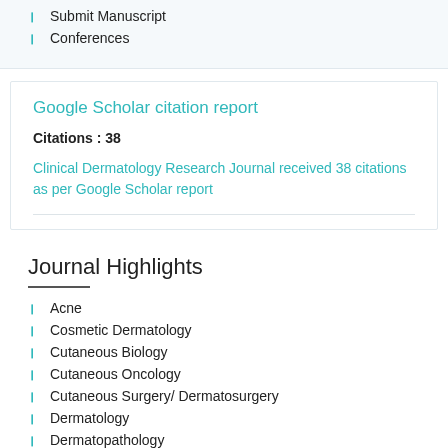Submit Manuscript
Conferences
Google Scholar citation report
Citations : 38
Clinical Dermatology Research Journal received 38 citations as per Google Scholar report
Journal Highlights
Acne
Cosmetic Dermatology
Cutaneous Biology
Cutaneous Oncology
Cutaneous Surgery/ Dermatosurgery
Dermatology
Dermatopathology